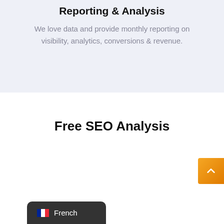Reporting & Analysis
We love data and provide monthly reporting on visibility, analytics, conversions & revenue.
Free SEO Analysis
[Figure (illustration): Orange button with upward chevron arrow, positioned at right edge]
[Figure (illustration): Dark grey badge showing French flag emoji and text 'French', positioned at bottom left]